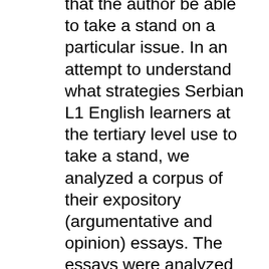that the author be able to take a stand on a particular issue. In an attempt to understand what strategies Serbian L1 English learners at the tertiary level use to take a stand, we analyzed a corpus of their expository (argumentative and opinion) essays. The essays were analyzed and coded for various linguistic structures used to convey taking a stand. These include nouns which are preceded by a sentence initial deictic This as a structure which encapsulates previous propositions, reported speech used to assign a stance to and